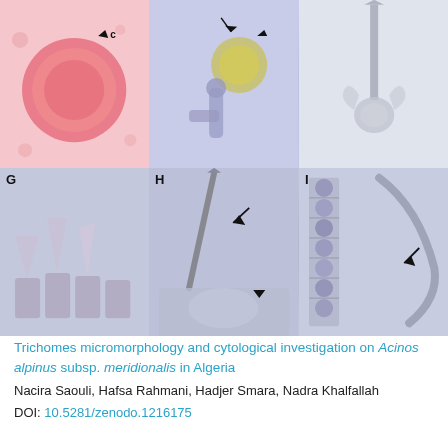[Figure (photo): Six microscopy images arranged in a 3x2 grid showing trichome micromorphology and cytological details of Acinos alpinus subsp. meridionalis. Top row: C (pink stained pollen/cell), E (blue-stained glandular trichome with sporangium), F (unstained hair/trichome). Bottom row: G (purple-stained trichomes on epidermis), H (purple-stained elongated trichome), I (purple-stained multicellular trichome). Arrows indicate specific structures.]
Trichomes micromorphology and cytological investigation on Acinos alpinus subsp. meridionalis in Algeria
Nacira Saouli, Hafsa Rahmani, Hadjer Smara, Nadra Khalfallah
DOI: 10.5281/zenodo.1216175